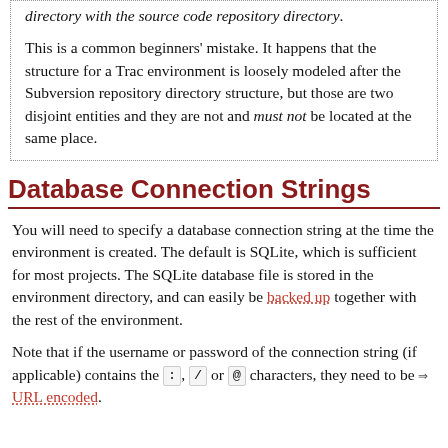directory with the source code repository directory.

This is a common beginners' mistake. It happens that the structure for a Trac environment is loosely modeled after the Subversion repository directory structure, but those are two disjoint entities and they are not and must not be located at the same place.
Database Connection Strings
You will need to specify a database connection string at the time the environment is created. The default is SQLite, which is sufficient for most projects. The SQLite database file is stored in the environment directory, and can easily be backed up together with the rest of the environment.
Note that if the username or password of the connection string (if applicable) contains the : , / or @ characters, they need to be URL encoded.